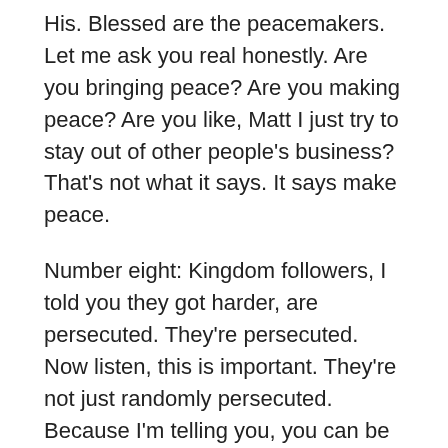His. Blessed are the peacemakers. Let me ask you real honestly. Are you bringing peace? Are you making peace? Are you like, Matt I just try to stay out of other people's business? That's not what it says. It says make peace.
Number eight: Kingdom followers, I told you they got harder, are persecuted. They're persecuted. Now listen, this is important. They're not just randomly persecuted. Because I'm telling you, you can be persecuted just for being weird. And some of you are alright. I'm just kidding. You're like Matt, please know I mean, but for real. You can be persecuted for a lot of things. It's not what He's talking about right here. Read the verse, to be persecuted for righteousness's sake. Matthew 5:10 says, "Blessed are those who